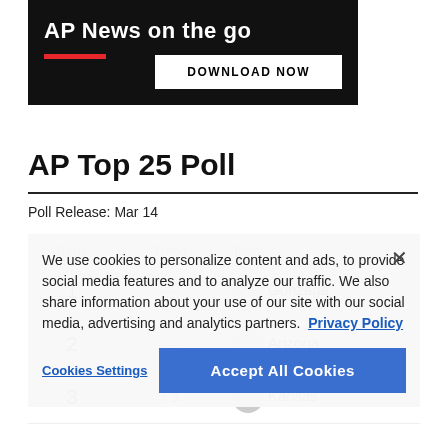[Figure (screenshot): AP News app advertisement banner with dark background, 'AP News on the go' text, red underline bar, and 'DOWNLOAD NOW' button]
AP Top 25 Poll
Poll Release: Mar 14
| Rank | Trend | Team |
| --- | --- | --- |
| 1 | — | Gonzaga |
| 2 | — | Arizona |
| 3 | ↑ 3 | Kansas |
We use cookies to personalize content and ads, to provide social media features and to analyze our traffic. We also share information about your use of our site with our social media, advertising and analytics partners. Privacy Policy
Cookies Settings   Accept All Cookies